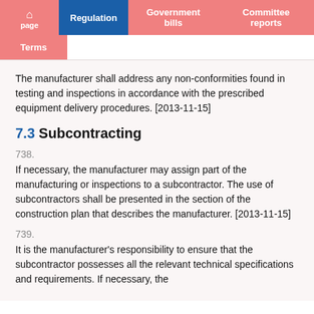Regulation | Government bills | Committee reports | Terms
The manufacturer shall address any non-conformities found in testing and inspections in accordance with the prescribed equipment delivery procedures. [2013-11-15]
7.3 Subcontracting
738.
If necessary, the manufacturer may assign part of the manufacturing or inspections to a subcontractor. The use of subcontractors shall be presented in the section of the construction plan that describes the manufacturer. [2013-11-15]
739.
It is the manufacturer's responsibility to ensure that the subcontractor possesses all the relevant technical specifications and requirements. If necessary, the